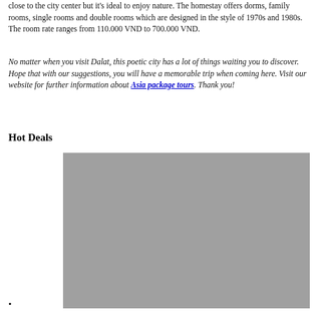close to the city center but it's ideal to enjoy nature. The homestay offers dorms, family rooms, single rooms and double rooms which are designed in the style of 1970s and 1980s. The room rate ranges from 110.000 VND to 700.000 VND.
No matter when you visit Dalat, this poetic city has a lot of things waiting you to discover. Hope that with our suggestions, you will have a memorable trip when coming here. Visit our website for further information about Asia package tours. Thank you!
Hot Deals
[Figure (photo): Gray placeholder image representing a photo related to Hot Deals travel content]
•